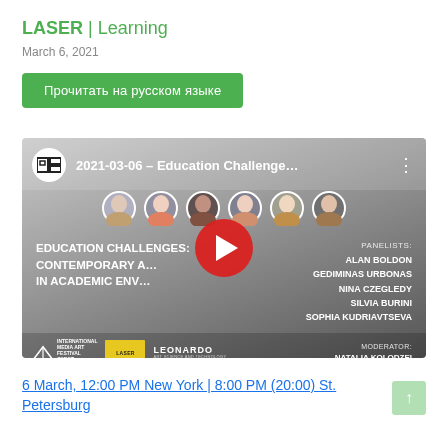LASER | Learning
March 6, 2021
Прочитать на русском языке
[Figure (screenshot): YouTube video thumbnail for '2021-03-06 - Education Challenge...' showing speaker profile photos and event details: Education Challenges: Contemporary Art in Academic Environments. Panelists: Alan Boldon, Gediminas Urbonas, Nina Czegledy, Silvia Burini, Sophia Kudriavtseva. Moderator: Natalia Kolodzei. Logos: SKVOT, LASER, Leonardo.]
6 March, 12:00 PM New York | 8:00 PM (20:00) St. Petersburg